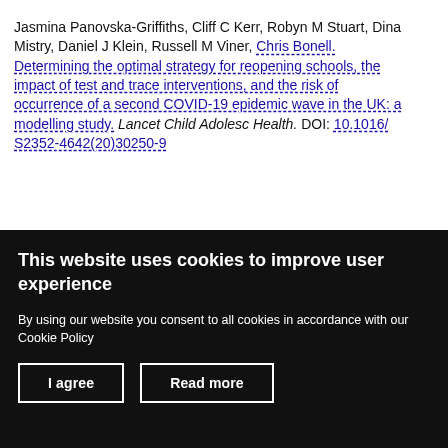Jasmina Panovska-Griffiths, Cliff C Kerr, Robyn M Stuart, Dina Mistry, Daniel J Klein, Russell M Viner, Chris Bonell. Determining the optimal strategy for reopening schools, the impact of test and trace interventions, and the risk of occurrence of a second COVID-19 epidemic wave in the UK: a modelling study. Lancet Child Adolesc Health. DOI: 10.1016/ S2352-4642(20)30250-9
Comment piece:
This website uses cookies to improve user experience
By using our website you consent to all cookies in accordance with our Cookie Policy
I agree  Read more